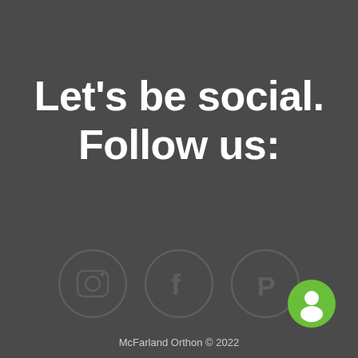Let's be social. Follow us:
[Figure (illustration): Three social media icons in circles: Instagram, Facebook, Pinterest]
[Figure (logo): Green circle with white chat bubble / person icon in bottom right corner]
McFarland Orthon © 2022